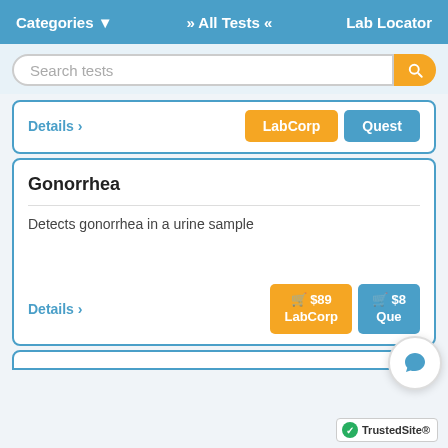Categories ▾   » All Tests «   Lab Locator
Search tests
Details ›   LabCorp   Quest
Gonorrhea
Detects gonorrhea in a urine sample
Details ›   🛒 $89 LabCorp   🛒 $89 Quest
[Figure (screenshot): TrustedSite badge with green checkmark]
[Figure (screenshot): Chat bubble button overlay]